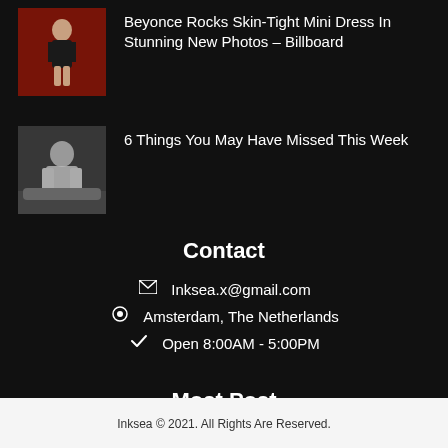[Figure (photo): Thumbnail photo of Beyonce in a skin-tight mini dress on a red background]
Beyonce Rocks Skin-Tight Mini Dress In Stunning New Photos – Billboard
[Figure (photo): Black and white thumbnail photo of a man, Miles Davis style, leaning on a car]
6 Things You May Have Missed This Week
Contact
Inksea.x@gmail.com
Amsterdam, The Netherlands
Open 8:00AM - 5:00PM
Most Post
Inksea © 2021. All Rights Are Reserved.